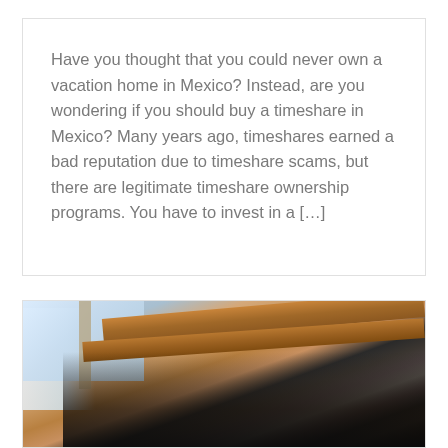Have you thought that you could never own a vacation home in Mexico? Instead, are you wondering if you should buy a timeshare in Mexico? Many years ago, timeshares earned a bad reputation due to timeshare scams, but there are legitimate timeshare ownership programs. You have to invest in a […]
[Figure (photo): Photo of people (appears to be two or three individuals) indoors under wooden ceiling beams, with window light coming in from the left side. The image is partially cropped at the bottom of the page.]